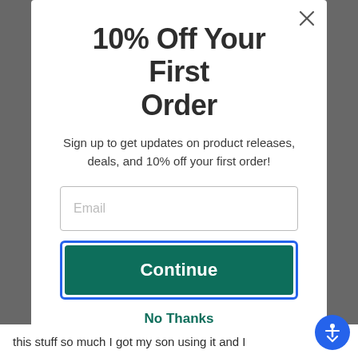10% Off Your First Order
Sign up to get updates on product releases, deals, and 10% off your first order!
[Figure (screenshot): Email input field with placeholder text 'Email']
[Figure (screenshot): Green 'Continue' button with blue border]
No Thanks
this stuff so much I got my son using it and I